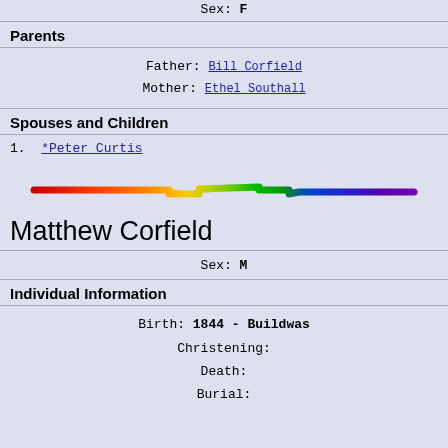Sex: F
Parents
Father: Bill Corfield
Mother: Ethel Southall
Spouses and Children
1. *Peter Curtis
[Figure (illustration): Rainbow colored horizontal line/stroke spanning the width of the page]
Matthew Corfield
Sex: M
Individual Information
Birth: 1844 - Buildwas
Christening:
Death:
Burial: